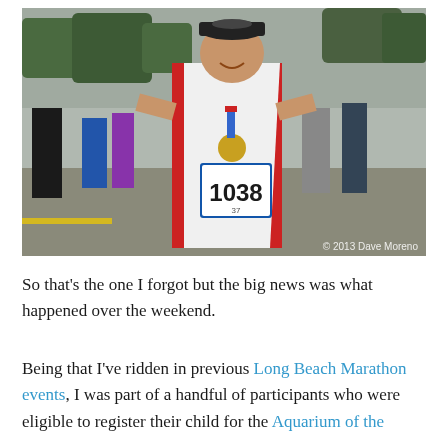[Figure (photo): A smiling man wearing a white sleeveless shirt with bib number 1038, a medal around his neck, sunglasses on his cap, standing at a marathon finish area with a crowd of people behind him. Copyright watermark reads '© 2013 Dave Moreno'.]
So that's the one I forgot but the big news was what happened over the weekend.
Being that I've ridden in previous Long Beach Marathon events, I was part of a handful of participants who were eligible to register their child for the Aquarium of the